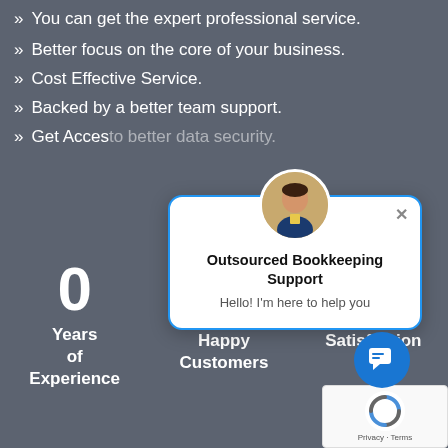You can get the expert professional service.
Better focus on the core of your business.
Cost Effective Service.
Backed by a better team support.
Get Access to better data security.
[Figure (screenshot): Chat popup overlay showing a person avatar, title 'Outsourced Bookkeeping Support' and message 'Hello! I'm here to help you', with close X button]
0 Years of Experience
Happy Customers
Satisfaction
[Figure (other): Blue circular chat button icon]
[Figure (other): Google reCAPTCHA badge with Privacy and Terms links]